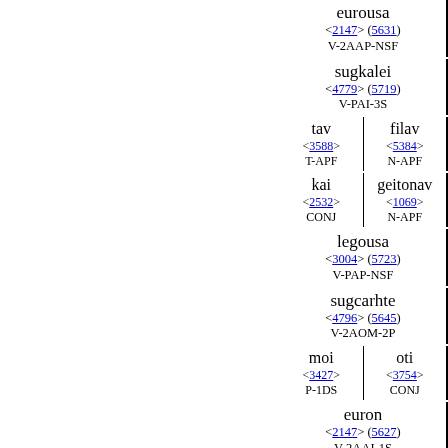eurousa <2147> (5631) V-2AAP-NSF
sugkalei <4779> (5719) V-PAI-3S
tav | filav   <3588> <5384>   T-APF | N-APF
kai | geitonav   <2532> <1069>   CONJ | N-APF
legousa <3004> (5723) V-PAP-NSF
sugcarhte <4796> (5645) V-2AOM-2P
moi | oti   <3427> <3754>   P-1DS | CONJ
euron <2147> (5627) V-2AAI-1S